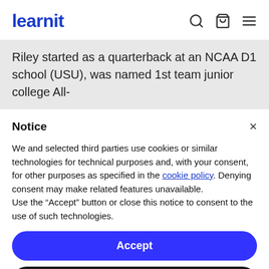learnit
Riley started as a quarterback at an NCAA D1 school (USU), was named 1st team junior college All-
Notice
We and selected third parties use cookies or similar technologies for technical purposes and, with your consent, for other purposes as specified in the cookie policy. Denying consent may make related features unavailable.
Use the “Accept” button or close this notice to consent to the use of such technologies.
Accept
Learn more and customize